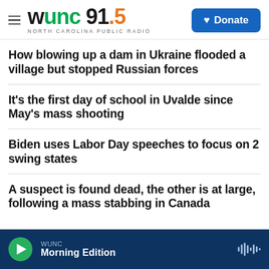WUNC 91.5 NORTH CAROLINA PUBLIC RADIO — Donate
How blowing up a dam in Ukraine flooded a village but stopped Russian forces
It's the first day of school in Uvalde since May's mass shooting
Biden uses Labor Day speeches to focus on 2 swing states
A suspect is found dead, the other is at large, following a mass stabbing in Canada
WUNC Morning Edition